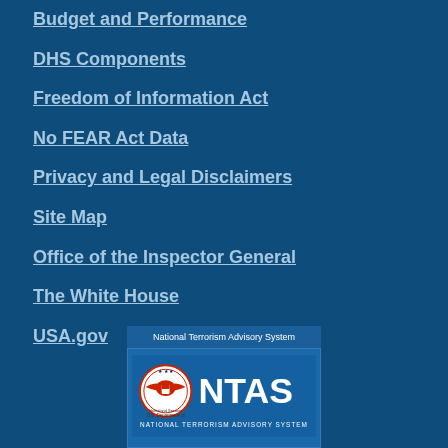Budget and Performance
DHS Components
Freedom of Information Act
No FEAR Act Data
Privacy and Legal Disclaimers
Site Map
Office of the Inspector General
The White House
USA.gov
[Figure (logo): National Terrorism Advisory System (NTAS) logo with DHS seal, displayed in a blue box with header text 'National Terrorism Advisory System' and 'NATIONAL TERRORISM ADVISORY SYSTEM' text below the seal.]